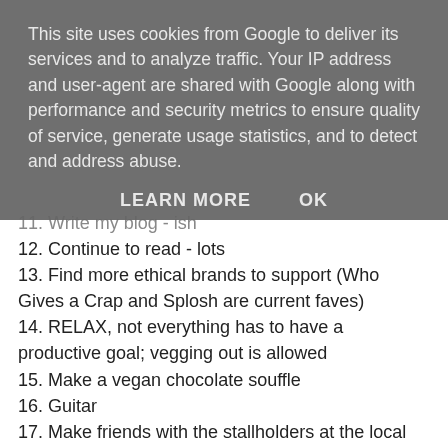This site uses cookies from Google to deliver its services and to analyze traffic. Your IP address and user-agent are shared with Google along with performance and security metrics to ensure quality of service, generate usage statistics, and to detect and address abuse.
LEARN MORE   OK
11. Write my blog - ish
12. Continue to read - lots
13. Find more ethical brands to support (Who Gives a Crap and Splosh are current faves)
14. RELAX, not everything has to have a productive goal; vegging out is allowed
15. Make a vegan chocolate souffle
16. Guitar
17. Make friends with the stallholders at the local farmers' market
18. Body lotion regularly and maybe anti-ageing cream (I'm getting old, it's never too early to try and defeat time itself)
19. Run.. ugh
20. Dinner parties!!!
21. Grow my own herbs (including you, basil - my nemesis)
22. Buy a painting (I just want to, it feels like something a 24yo